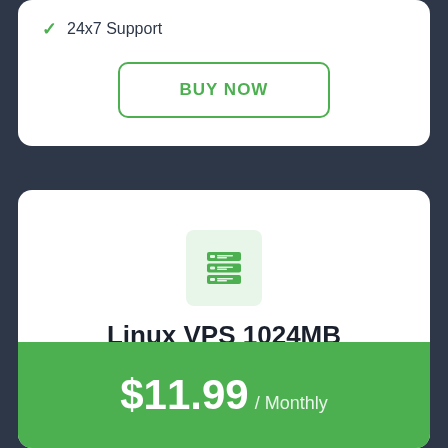24x7 Support
BUY NOW
[Figure (illustration): Server/database stack icon on light green square background]
Linux VPS 1024MB
$11.99 / Monthly